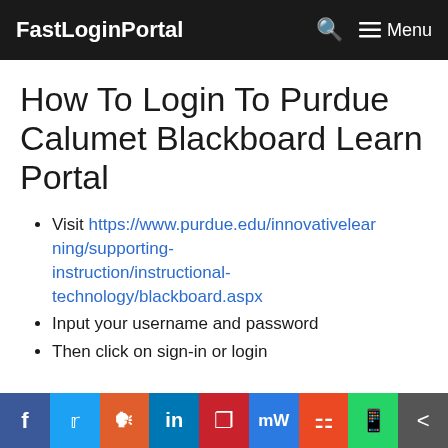FastLoginPortal  🔍  ≡ Menu
How To Login To Purdue Calumet Blackboard Learn Portal
Visit https://www.purdue.edu/innovativelearning/supporting-instruction/instructional-technology/blackboard.aspx
Input your username and password
Then click on sign-in or login